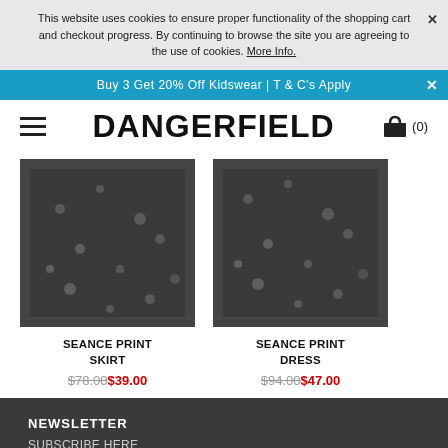This website uses cookies to ensure proper functionality of the shopping cart and checkout progress. By continuing to browse the site you are agreeing to the use of cookies. More Info.
Buy 3 Get 20% Off Kidswear | T & C's Apply
DANGERFIELD (0)
[Figure (photo): Product photo of Seance Print Skirt - dark floral print skirt]
SEANCE PRINT SKIRT $78.00 $39.00
[Figure (photo): Product photo of Seance Print Dress - dark floral print dress]
SEANCE PRINT DRESS $94.00 $47.00
NEWSLETTER
SUBSCRIBE HERE
HELP + INFO
TERMS AND CONDITIONS